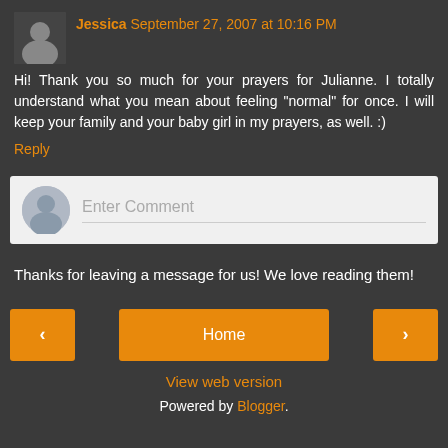Jessica September 27, 2007 at 10:16 PM
Hi! Thank you so much for your prayers for Julianne. I totally understand what you mean about feeling "normal" for once. I will keep your family and your baby girl in my prayers, as well. :)
Reply
[Figure (screenshot): Comment input box with avatar placeholder and 'Enter Comment' placeholder text]
Thanks for leaving a message for us! We love reading them!
< Home >
View web version
Powered by Blogger.